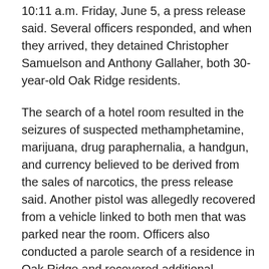10:11 a.m. Friday, June 5, a press release said. Several officers responded, and when they arrived, they detained Christopher Samuelson and Anthony Gallaher, both 30-year-old Oak Ridge residents.
The search of a hotel room resulted in the seizures of suspected methamphetamine, marijuana, drug paraphernalia, a handgun, and currency believed to be derived from the sales of narcotics, the press release said. Another pistol was allegedly recovered from a vehicle linked to both men that was parked near the room. Officers also conducted a parole search of a residence in Oak Ridge and recovered additional narcotics, the release said. [Read more...]